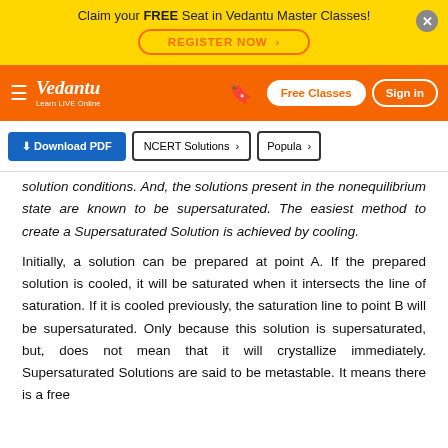Claim your FREE Seat in Vedantu Master Classes! REGISTER NOW
Vedantu — Learn LIVE Online | Free Classes | Sign in
[Figure (screenshot): Vedantu navigation bar with logo, bookmark icon, Free Classes button, and Sign in button on orange background]
[Figure (screenshot): Toolbar with Download PDF button, NCERT Solutions button, Popular button]
solution conditions. And, the solutions present in the nonequilibrium state are known to be supersaturated. The easiest method to create a Supersaturated Solution is achieved by cooling.
Initially, a solution can be prepared at point A. If the prepared solution is cooled, it will be saturated when it intersects the line of saturation. If it is cooled previously, the saturation line to point B will be supersaturated. Only because this solution is supersaturated, but, does not mean that it will crystallize immediately. Supersaturated Solutions are said to be metastable. It means there is a free